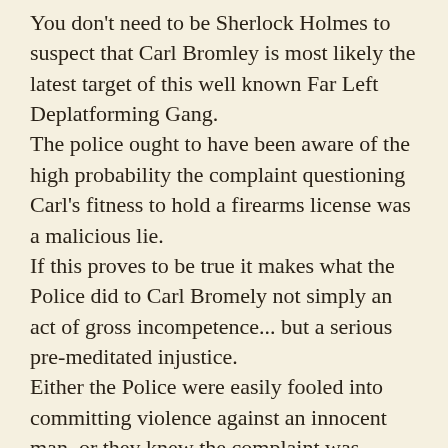You don't need to be Sherlock Holmes to suspect that Carl Bromley is most likely the latest target of this well known Far Left Deplatforming Gang. The police ought to have been aware of the high probability the complaint questioning Carl's fitness to hold a firearms license was a malicious lie. If this proves to be true it makes what the Police did to Carl Bromely not simply an act of gross incompetence... but a serious pre-meditated injustice. Either the Police were easily fooled into committing violence against an innocent man, or they knew the complaint was fraudulent yet moved to take Carl's gun anyway! That's blatant corruption! Carl called the complaint 'Bogus' and we can be